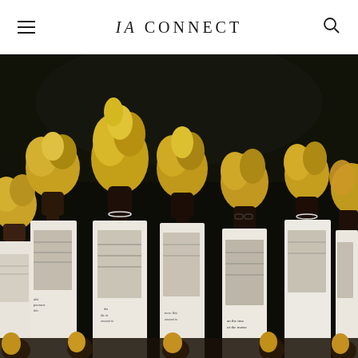IA CONNECT
[Figure (photo): Fashion runway photo showing multiple models wearing white graphic print dresses with large gold metallic head wraps/turbans, standing in a row against a dark background. The dresses feature black and white photographic prints of people. Text fragments visible on garments include 'an the shadow of the masses' and other phrases.]